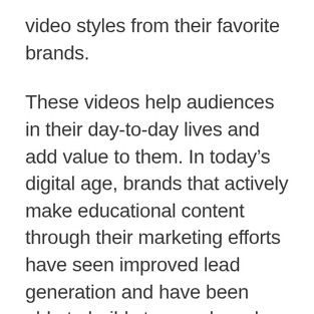video styles from their favorite brands.
These videos help audiences in their day-to-day lives and add value to them. In today’s digital age, brands that actively make educational content through their marketing efforts have seen improved lead generation and have been able to build stronger brand loyalty.
And this is where short-form educational content pieces such as Explainer Videos come in handy.